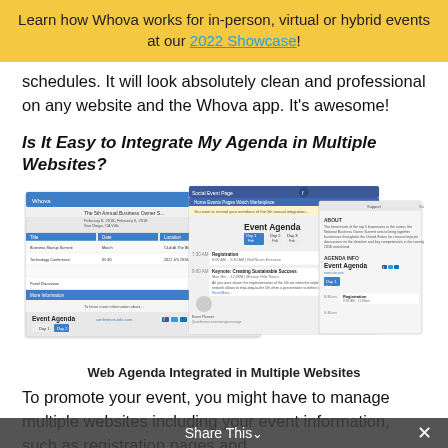Learn how Whova works for in-person, virtual or hybrid events at our 2022 Showcase!
schedules. It will look absolutely clean and professional on any website and the Whova app. It's awesome!
Is It Easy to Integrate My Agenda in Multiple Websites?
[Figure (screenshot): Screenshots of the Whova web agenda integrated in multiple websites including event registration pages and social media pages]
Web Agenda Integrated in Multiple Websites
To promote your event, you might have to manage multiple websites including your event information, such as registration pages and